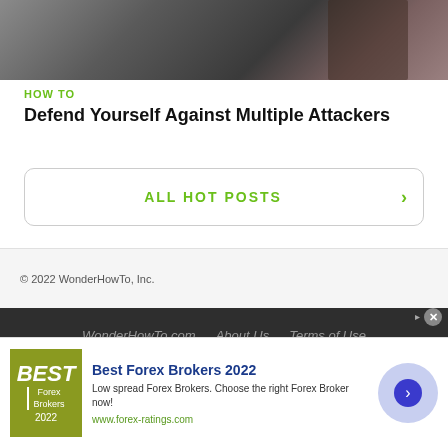[Figure (photo): Photo strip showing people, likely martial arts or self-defense context, dark/muted tones]
HOW TO
Defend Yourself Against Multiple Attackers
ALL HOT POSTS >
© 2022 WonderHowTo, Inc.
WonderHowTo.com   About Us   Terms of Use   Privacy Policy
Don't Miss:
20 Things You Can Do in Your Photos App in iOS 16 That You...
[Figure (infographic): Advertisement banner for Best Forex Brokers 2022 with logo, text, and circular arrow button]